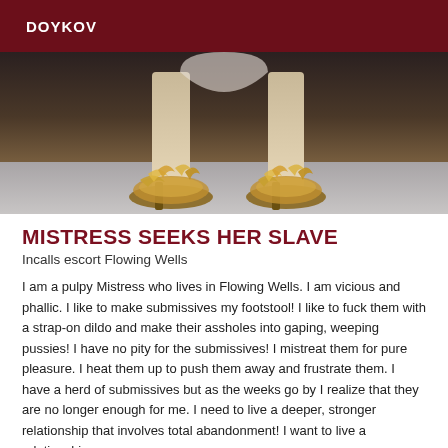DOYKOV
[Figure (photo): Close-up photo of feet wearing ornate golden/feathered high-heeled shoes on a light surface, dark background at top]
MISTRESS SEEKS HER SLAVE
Incalls escort Flowing Wells
I am a pulpy Mistress who lives in Flowing Wells. I am vicious and phallic. I like to make submissives my footstool! I like to fuck them with a strap-on dildo and make their assholes into gaping, weeping pussies! I have no pity for the submissives! I mistreat them for pure pleasure. I heat them up to push them away and frustrate them. I have a herd of submissives but as the weeks go by I realize that they are no longer enough for me. I need to live a deeper, stronger relationship that involves total abandonment! I want to live a relationship